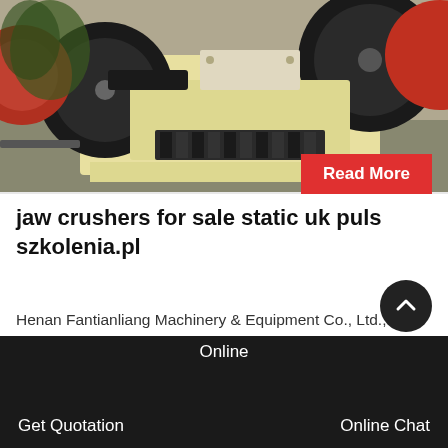[Figure (photo): Industrial jaw crusher machine in yellow and black, showing large wheels/pulleys and crushing mechanism, photographed outdoors]
Read More
jaw crushers for sale static uk puls szkolenia.pl
Henan Fantianliang Machinery & Equipment Co., Ltd., Experts in Manufacturing and Exporting Medical Full automatic production line, medical material production line…
[Figure (illustration): Broken/missing image placeholder icon]
Online   Get Quotation   Online Chat